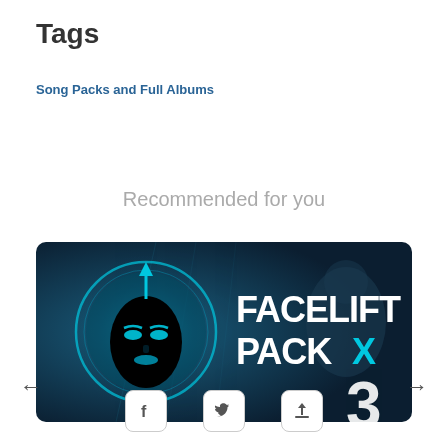Tags
Song Packs and Full Albums
Recommended for you
[Figure (photo): Promotional image for 'Facelift Pack' showing a stylized black face silhouette with cyan glowing features inside a circular frame on a dark blue background, with bold white text reading 'FACELIFT PACK X' and a number '3' partially visible.]
← →
[Figure (infographic): Social sharing icons: Facebook, Twitter, and share/upload arrow buttons in rounded square buttons]